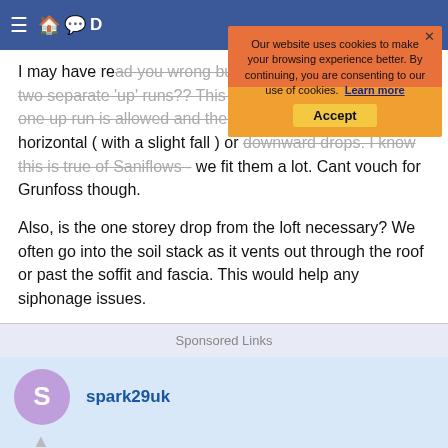Navigation bar with hamburger menu and icons
Our website uses cookies to make your browsing experience better. By continuing, you are consenting to our use of cookies. Learn more
Accept
I may have read you wrong but did you say the outlet had two separate 'up' runs?? This is generally a no no. Only one up run is allowed and then everything else has to be horizontal ( with a slight fall ) or downward drops. I know this is true of Saniflows - we fit them a lot. Cant vouch for Grunfoss though.
Also, is the one storey drop from the loft necessary? We often go into the soil stack as it vents out through the roof or past the soffit and fascia. This would help any siphonage issues.
Sponsored Links
spark29uk
13 Jul 2006  #5
The drop from the loft doesn't go into the main soil stack, it goes